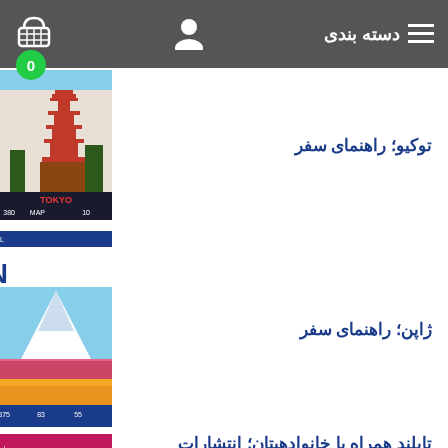دسته بندی
توکیو؛ راهنمای سفر
[Figure (photo): Travel guide book cover for Tokyo with image of a Japanese pagoda]
ژاپن؛ راهنمای سفر
[Figure (photo): DK Eyewitness Travel Japan guide book cover with Mount Fuji and flowers]
تایلند همراه با خانوادهیتان؛ انتشارات Frommer
[Figure (photo): Frommer's Thailand with Your Family travel guide book cover]